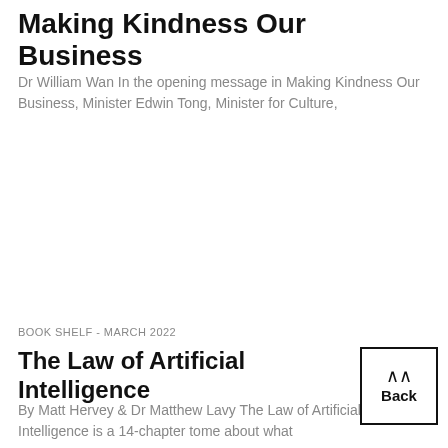Making Kindness Our Business
Dr William Wan In the opening message in Making Kindness Our Business, Minister Edwin Tong, Minister for Culture,
BOOK SHELF - March 2022
The Law of Artificial Intelligence
By Matt Hervey & Dr Matthew Lavy The Law of Artificial Intelligence is a 14-chapter tome about what